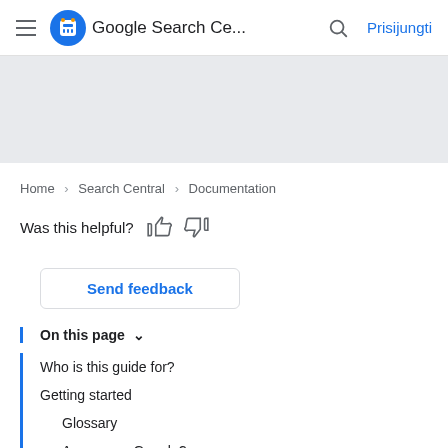Google Search Ce... Prisijungti
[Figure (other): Gray banner/hero area]
Home › Search Central › Documentation
Was this helpful? 👍 👎
Send feedback
On this page ∨
Who is this guide for?
Getting started
Glossary
Are you on Google?